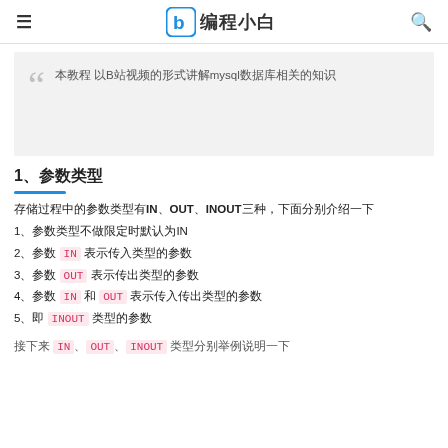编程小白
本教程 以B站视频的形式讲解mysql数据库相关的知识
1、参数类型
存储过程中的参数类型有IN、OUT、INOUT三种，下面分别介绍一下
1、参数类型不做限定时默认为IN
2、参数 IN 表示传入类型的参数
3、参数 OUT 表示传出类型的参数
4、参数 IN 和 OUT 表示传入传出类型的参数
5、即 INOUT 类型的参数
接下来 IN、OUT、INOUT 类型分别举例说明一下